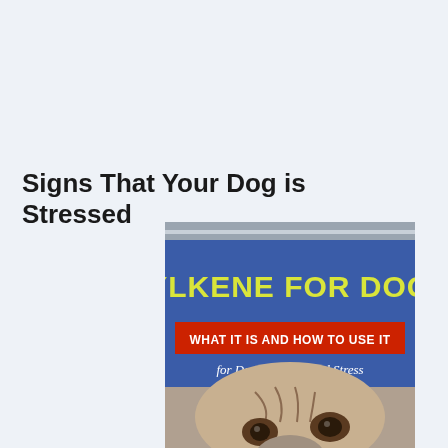Signs That Your Dog is Stressed
[Figure (illustration): Promotional graphic for Zylkene for Dogs showing a pug dog's face peeking up from the bottom, with a blue banner header reading 'ZYLKENE FOR DOGS' in yellow text, a red banner reading 'WHAT IT IS AND HOW TO USE IT', and italic text 'for Dog's Anxiety and Stress'. A small product packet is visible in the foreground. Below the image is a faint reflection.]